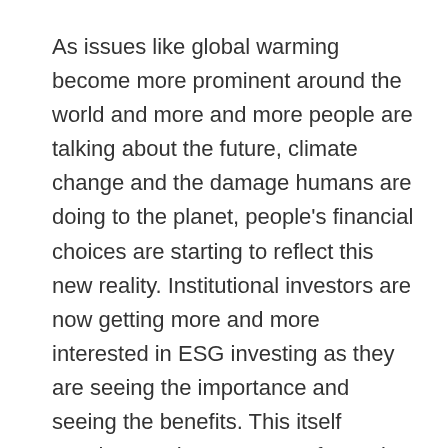As issues like global warming become more prominent around the world and more and more people are talking about the future, climate change and the damage humans are doing to the planet, people's financial choices are starting to reflect this new reality. Institutional investors are now getting more and more interested in ESG investing as they are seeing the importance and seeing the benefits. This itself accelerates the presence of ESG into the investment mainstream, and it will continue to grow. Although sceptics say that this kind of responsible investing is a fad, it doesn't seem to be going anywhere anytime soon. Today, people are demanding businesses to be more transparent in their practices; we want to see salaries, we want to know where their money goes, what their Co2 emissions are and how they give to charity. If consumers want to make smarter choices of where to